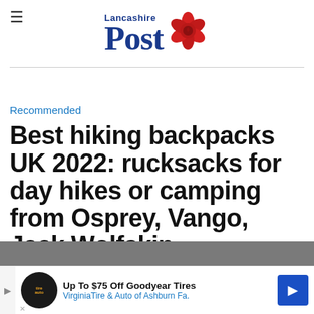Lancashire Post
Recommended
Best hiking backpacks UK 2022: rucksacks for day hikes or camping from Osprey, Vango, Jack Wolfskin
[Figure (other): Advertisement banner: Up To $75 Off Goodyear Tires - VirginiaTire & Auto of Ashburn Fa.]